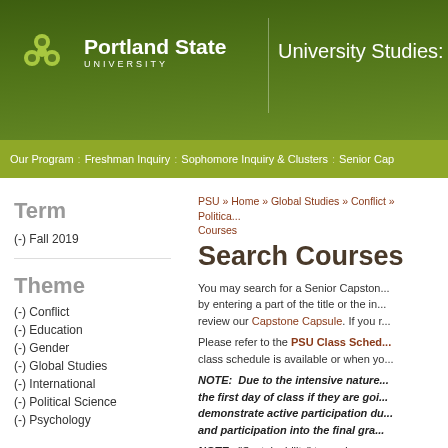Portland State University — University Studies: Senior Cap
Our Program : Freshman Inquiry : Sophomore Inquiry & Clusters : Senior Cap
PSU » Home » Global Studies » Conflict » Politica... Courses
Search Courses
Term
(-) Fall 2019
Theme
(-) Conflict
(-) Education
(-) Gender
(-) Global Studies
(-) International
(-) Political Science
(-) Psychology
You may search for a Senior Capstone by entering a part of the title or the ins... review our Capstone Capsule. If you r...
Please refer to the PSU Class Schedu... class schedule is available or when yo...
NOTE:  Due to the intensive nature... the first day of class if they are goi... demonstrate active participation du... and participation into the final gra...
NOTE:  "Sustainability" tagged cou... seek approval from Joseph Maser,